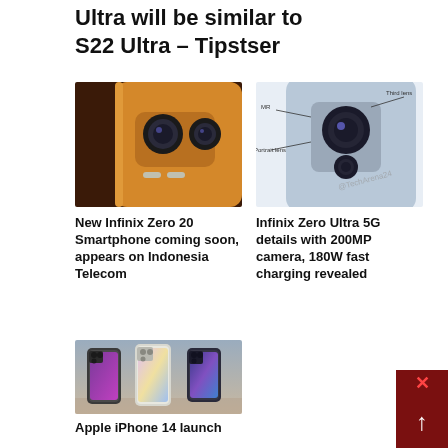Ultra will be similar to S22 Ultra – Tipstser
[Figure (photo): Back of an orange Infinix Zero 20 smartphone showing dual camera setup]
[Figure (photo): Back of a light blue smartphone with camera labels: MR, Portrait lens, Third lens – @TechArena24 watermark]
New Infinix Zero 20 Smartphone coming soon, appears on Indonesia Telecom
Infinix Zero Ultra 5G details with 200MP camera, 180W fast charging revealed
[Figure (photo): Three Apple iPhone 14 models in different colors displayed together]
Apple iPhone 14 launch